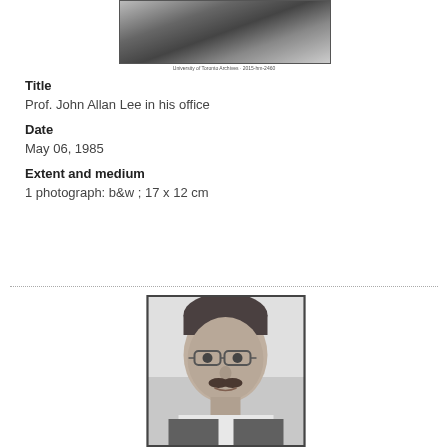[Figure (photo): Black and white photograph of Prof. John Allan Lee in his office, shown from behind/side at a desk. Caption reads University of Toronto Archives.]
Title
Prof. John Allan Lee in his office
Date
May 06, 1985
Extent and medium
1 photograph: b&w ; 17 x 12 cm
[Figure (photo): Black and white portrait photograph of a man with glasses and a mustache, identified as Prof. John Allan Lee.]